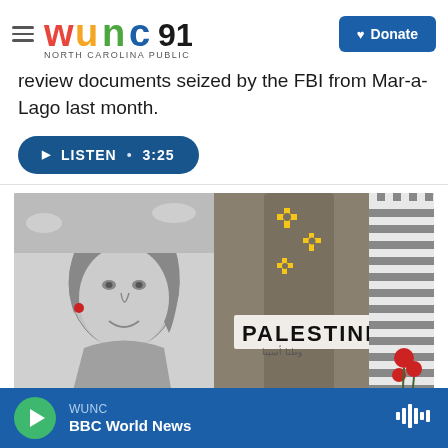WUNC 91.5 North Carolina Public Radio | Donate
review documents seized by the FBI from Mar-a-Lago last month.
LISTEN • 3:25
[Figure (photo): A pencil portrait drawing of a woman with red earrings beside a cloth wrapped column with 'PALESTINE' written on a white band, with yellow cross imagery, checkered keffiyeh fabric, and red flowers]
WUNC BBC World News